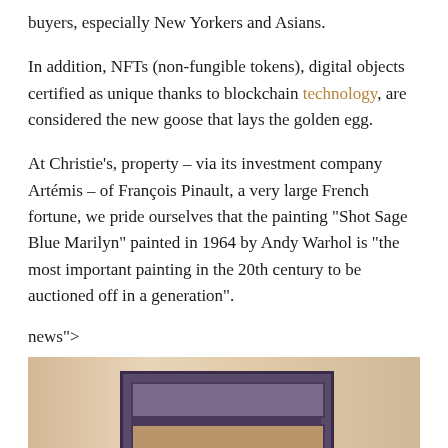buyers, especially New Yorkers and Asians.
In addition, NFTs (non-fungible tokens), digital objects certified as unique thanks to blockchain technology, are considered the new goose that lays the golden egg.
At Christie’s, property – via its investment company Artémis – of François Pinault, a very large French fortune, we pride ourselves that the painting “Shot Sage Blue Marilyn” painted in 1964 by Andy Warhol is “the most important painting in the 20th century to be auctioned off in a generation”.
news">
[Figure (photo): A framed painting or artwork, shown from behind or with the frame visible, against a warm beige/tan background. The frame appears dark purple/navy, with subdivided panels.]